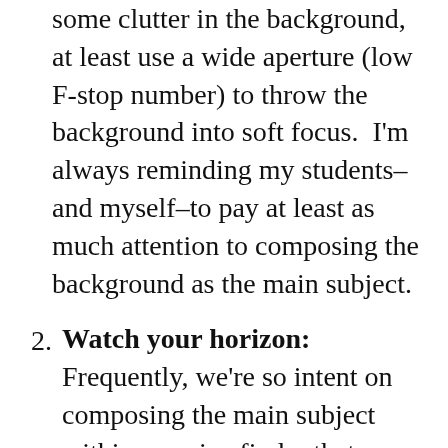some clutter in the background, at least use a wide aperture (low F-stop number) to throw the background into soft focus. I'm always reminding my students–and myself–to pay at least as much attention to composing the background as the main subject.
Watch your horizon: Frequently, we're so intent on composing the main subject within our viewfinder that we forget to check whether the camera is level before firing the shutter. An uneven horizon can give the impression of vertigo, like the subject is going to fall out of the frame. Some cameras have a virtual horizon function to show you whether the horizontal and vertical axes are level, but